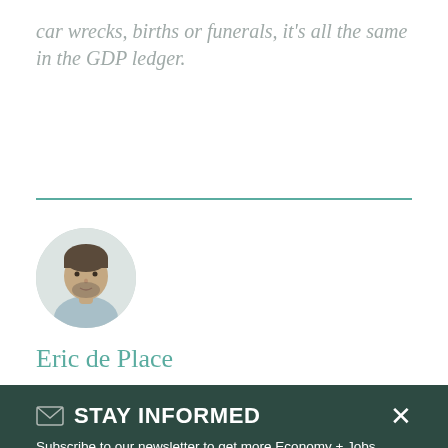car wrecks, births or funerals, it's all the same in the GDP ledger.
[Figure (photo): Circular headshot photo of Eric de Place, a man with short hair and beard wearing a light blue shirt]
Eric de Place
✉ STAY INFORMED
Subscribe to our newsletter to get more Economy + Jobs research, analysis, and other policy updates delivered to your inbox
SIGN UP